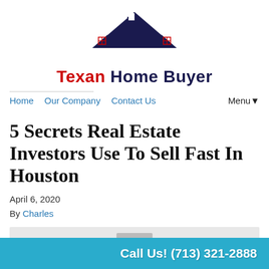[Figure (logo): Texan Home Buyer logo with house icon and red/navy text]
Home  Our Company  Contact Us  Menu▼
5 Secrets Real Estate Investors Use To Sell Fast In Houston
April 6, 2020
By Charles
[Figure (photo): Partial photo of a house, bottom of page image area]
Call Us! (713) 321-2888